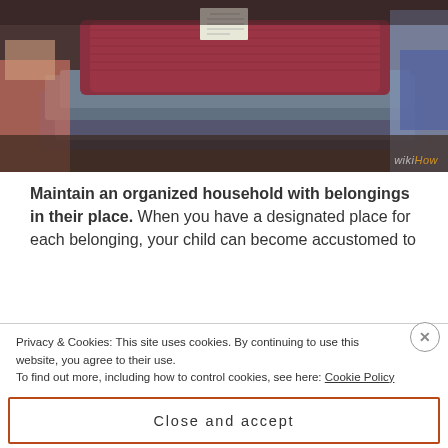[Figure (photo): A pile of folded clothes including a maroon/red knit sweater with a label showing, stacked on what appears to be a shelf or surface. The background is cluttered with other items.]
Maintain an organized household with belongings in their place. When you have a designated place for each belonging, your child can become accustomed to the same type of organization.
Consistently put your belongings back into their designated spaces; such as placing shoes back into
Privacy & Cookies: This site uses cookies. By continuing to use this website, you agree to their use.
To find out more, including how to control cookies, see here: Cookie Policy
Close and accept